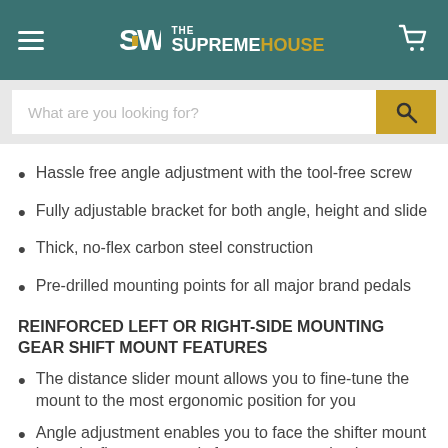THE SUPREMEHOUSE
Hassle free angle adjustment with the tool-free screw
Fully adjustable bracket for both angle, height and slide
Thick, no-flex carbon steel construction
Pre-drilled mounting points for all major brand pedals
REINFORCED LEFT OR RIGHT-SIDE MOUNTING GEAR SHIFT MOUNT FEATURES
The distance slider mount allows you to fine-tune the mount to the most ergonomic position for you
Angle adjustment enables you to face the shifter mount inwards, flat or outwards for more customised